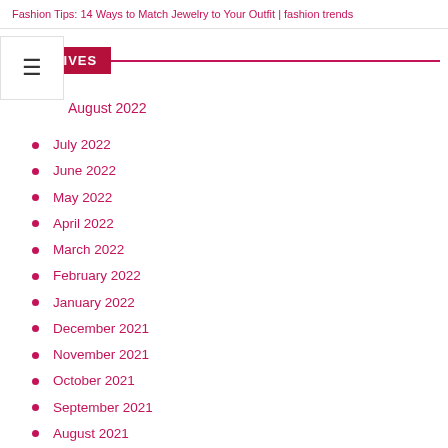Fashion Tips: 14 Ways to Match Jewelry to Your Outfit | fashion trends
ARCHIVES
August 2022
July 2022
June 2022
May 2022
April 2022
March 2022
February 2022
January 2022
December 2021
November 2021
October 2021
September 2021
August 2021
July 2021